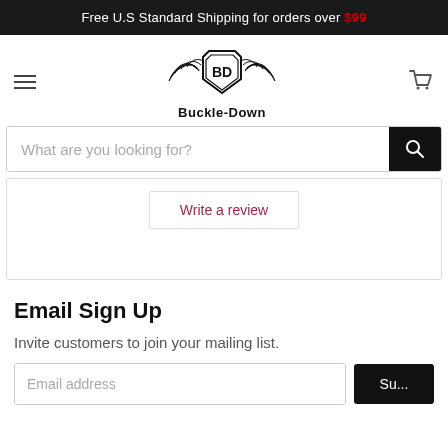Free U.S Standard Shipping for orders over $99
[Figure (logo): Buckle-Down winged shield logo with text 'Buckle-Down' below]
What are you looking for?
Write a review
Email Sign Up
Invite customers to join your mailing list.